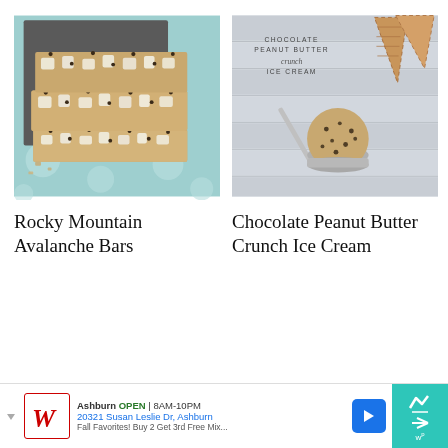[Figure (photo): Stacked Rocky Mountain Avalanche Bars with chocolate chips and marshmallows on a teal dotted surface]
[Figure (photo): Chocolate Peanut Butter Crunch Ice Cream scoop in a metal scoop with waffle cones on white wood background, text overlay reads 'Chocolate Peanut Butter Crunch Ice Cream']
Rocky Mountain Avalanche Bars
Chocolate Peanut Butter Crunch Ice Cream
[Figure (infographic): Walgreens advertisement banner: Ashburn OPEN 8AM-10PM, 20321 Susan Leslie Dr, Ashburn, Fall Favorites! Buy 2 Get 3rd Free Mix...]